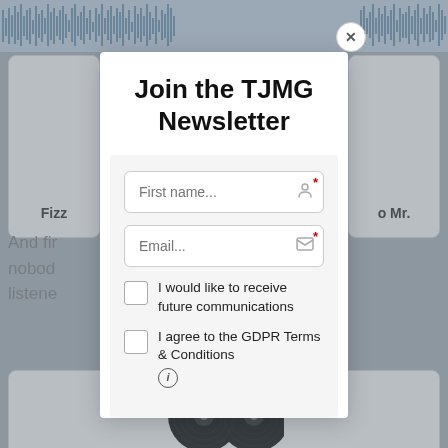[Figure (screenshot): Background webpage with audio waveform bar at top, podcast card thumbnails, partial text reading 'And fi... rning, nobod... until a listene...', and a vinyl record card at bottom]
Join the TJMG Newsletter
[Figure (screenshot): Newsletter signup form with First name and Email fields (both required), two checkboxes: 'I would like to receive future communications' and 'I agree to the GDPR Terms & Conditions' with info icon]